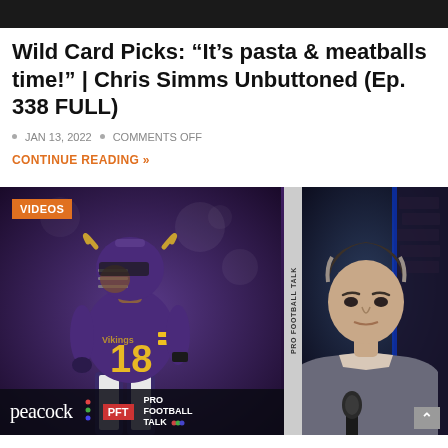[Figure (screenshot): Dark top navigation bar of a website]
Wild Card Picks: “It’s pasta & meatballs time!” | Chris Simms Unbuttoned (Ep. 338 FULL)
JAN 13, 2022 • COMMENTS OFF
CONTINUE READING »
[Figure (screenshot): Thumbnail image split into two panels: left panel shows a Minnesota Vikings NFL player wearing purple jersey #18, in front of a dark stadium background, with Peacock and Pro Football Talk logos at bottom; right panel shows a man (Chris Simms) speaking at a microphone in a studio with blue brick background and Pro Football Talk branding. A 'VIDEOS' orange badge appears top-left.]